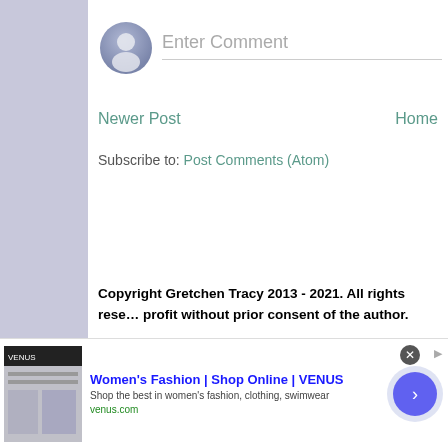[Figure (screenshot): User avatar circle icon (default profile silhouette) in blue-grey tones]
Enter Comment
Newer Post
Home
Subscribe to: Post Comments (Atom)
Copyright Gretchen Tracy 2013 - 2021. All rights reserved. Content may not be reproduced for profit without prior consent of the author.
[Figure (screenshot): Advertisement banner: Women's Fashion | Shop Online | VENUS. Shop the best in women's fashion, clothing, swimwear. venus.com]